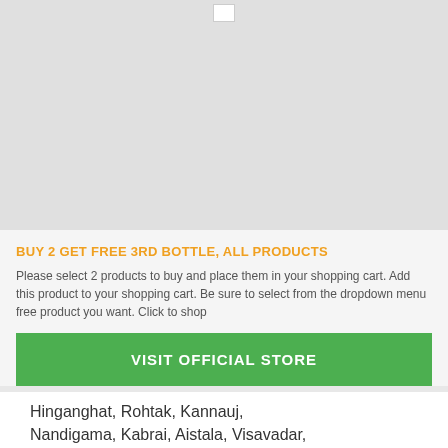[Figure (photo): Broken/unloaded image placeholder at top of page]
BUY 2 GET FREE 3RD BOTTLE, ALL PRODUCTS
Please select 2 products to buy and place them in your shopping cart. Add this product to your shopping cart. Be sure to select from the dropdown menu free product you want. Click to shop
VISIT OFFICIAL STORE
Hinganghat, Rohtak, Kannauj, Nandigama, Kabrai, Aistala, Visavadar, Chiknavakanhalli, Baloda Bazar, Mandvi,